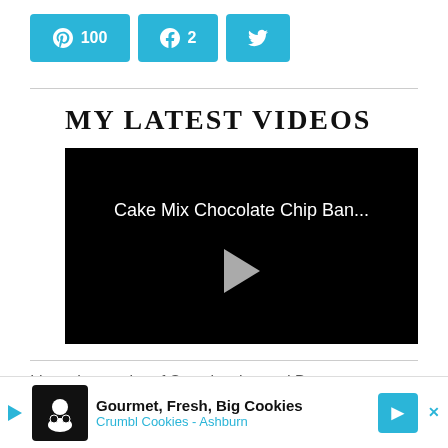[Figure (infographic): Social sharing buttons: Pinterest (100 shares), Facebook (2 shares), Twitter]
MY LATEST VIDEOS
[Figure (screenshot): Video player showing 'Cake Mix Chocolate Chip Ban...' with play button on black background]
I love the combo of Strawberries and Bananas and t... m perfe... s.
[Figure (infographic): Ad banner: Gourmet, Fresh, Big Cookies - Crumbl Cookies - Ashburn]